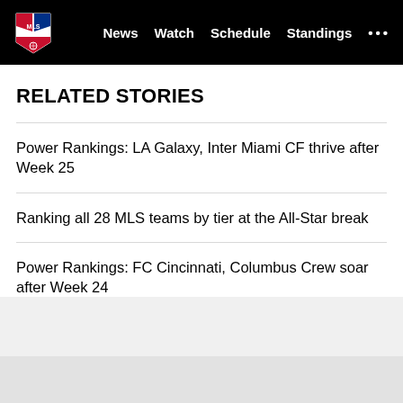MLS — News  Watch  Schedule  Standings  •••
RELATED STORIES
Power Rankings: LA Galaxy, Inter Miami CF thrive after Week 25
Ranking all 28 MLS teams by tier at the All-Star break
Power Rankings: FC Cincinnati, Columbus Crew soar after Week 24